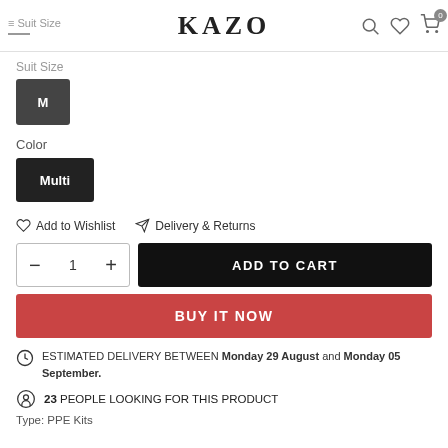Suit Size | KAZO
Suit Size
M
Color
Multi
Add to Wishlist   Delivery & Returns
1   ADD TO CART
BUY IT NOW
ESTIMATED DELIVERY BETWEEN Monday 29 August and Monday 05 September.
23 PEOPLE LOOKING FOR THIS PRODUCT
Type: PPE Kits